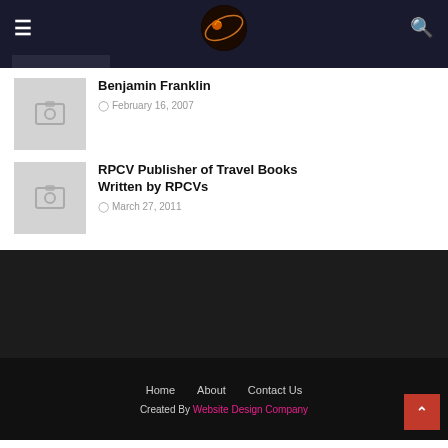≡  [logo]  🔍
Benjamin Franklin
February 16, 2007
RPCV Publisher of Travel Books Written by RPCVs
March 27, 2011
Home   About   Contact Us
Created By Website Design Company